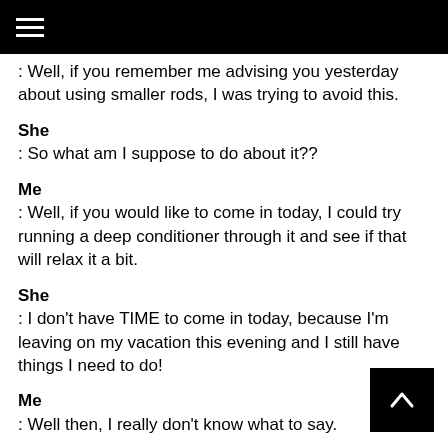: Well, if you remember me advising you yesterday about using smaller rods, I was trying to avoid this.
She
: So what am I suppose to do about it??
Me
: Well, if you would like to come in today, I could try running a deep conditioner through it and see if that will relax it a bit.
She
: I don't have TIME to come in today, because I'm leaving on my vacation this evening and I still have things I need to do!
Me
: Well then, I really don't know what to say.
She